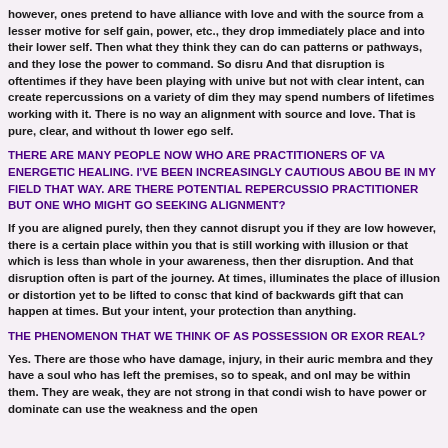however, ones pretend to have alliance with love and with the source from a lesser motive for self gain, power, etc., they drop immediately place and into their lower self. Then what they think they can do can patterns or pathways, and they lose the power to command. So disru And that disruption is oftentimes if they have been playing with unive but not with clear intent, can create repercussions on a variety of dim they may spend numbers of lifetimes working with it. There is no way an alignment with source and love. That is pure, clear, and without th lower ego self.
THERE ARE MANY PEOPLE NOW WHO ARE PRACTITIONERS OF VA ENERGETIC HEALING. I'VE BEEN INCREASINGLY CAUTIOUS ABOU BE IN MY FIELD THAT WAY. ARE THERE POTENTIAL REPERCUSSIO PRACTITIONER BUT ONE WHO MIGHT GO SEEKING ALIGNMENT?
If you are aligned purely, then they cannot disrupt you if they are low however, there is a certain place within you that is still working with illusion or that which is less than whole in your awareness, then ther disruption. And that disruption often is part of the journey. At times, illuminates the place of illusion or distortion yet to be lifted to consc that kind of backwards gift that can happen at times. But your intent, your protection than anything.
THE PHENOMENON THAT WE THINK OF AS POSSESSION OR EXOR REAL?
Yes. There are those who have damage, injury, in their auric membra and they have a soul who has left the premises, so to speak, and onl may be within them. They are weak, they are not strong in that condi wish to have power or dominate can use the weakness and the open